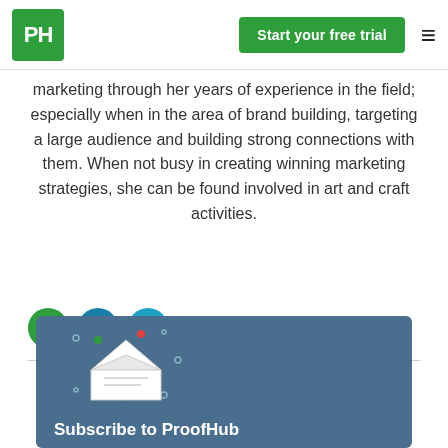PH | Start your free trial
marketing through her years of experience in the field; especially when in the area of brand building, targeting a large audience and building strong connections with them. When not busy in creating winning marketing strategies, she can be found involved in art and craft activities.
[Figure (illustration): Three social media icons: green home/website icon, teal LinkedIn icon, blue Twitter icon]
[Figure (illustration): Subscribe to ProofHub banner with blue-grey background and open envelope illustration with decorative dots. Text reads: Subscribe to ProofHub]